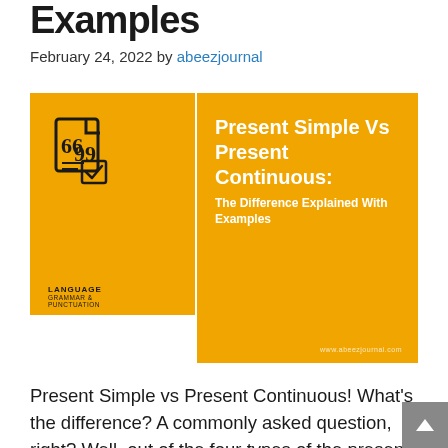Examples
February 24, 2022 by abeezjournal
[Figure (illustration): Orange graphic card with a quotation/document icon on the left panel, LANGUAGE GRAMMAR & PUNCTUATION label, and a white vertical divider. Right side shows title text: 'Present Simple Vs Present Continuous: The Difference Explained With Examples' on orange background. Website URL www.abeezjournal.com shown at bottom right.]
Present Simple vs Present Continuous! What's the difference? A commonly asked question, right? Well, out of the four types of the present tense in English grammar, these